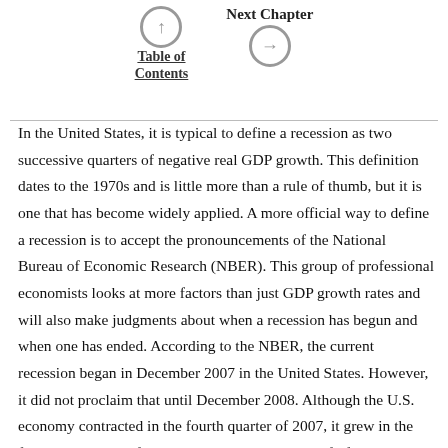Table of Contents | Next Chapter
In the United States, it is typical to define a recession as two successive quarters of negative real GDP growth. This definition dates to the 1970s and is little more than a rule of thumb, but it is one that has become widely applied. A more official way to define a recession is to accept the pronouncements of the National Bureau of Economic Research (NBER). This group of professional economists looks at more factors than just GDP growth rates and will also make judgments about when a recession has begun and when one has ended. According to the NBER, the current recession began in December 2007 in the United States. However, it did not proclaim that until December 2008. Although the U.S. economy contracted in the fourth quarter of 2007, it grew in the first two quarters of 2008, meaning that it did not fulfill the